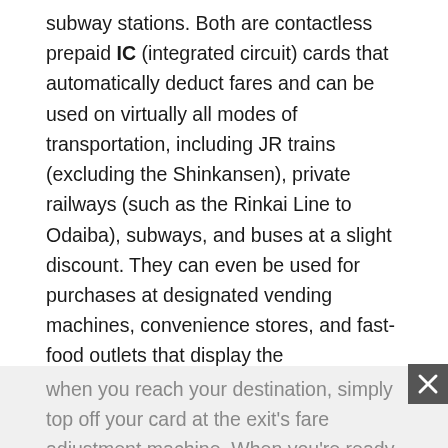subway stations. Both are contactless prepaid IC (integrated circuit) cards that automatically deduct fares and can be used on virtually all modes of transportation, including JR trains (excluding the Shinkansen), private railways (such as the Rinkai Line to Odaiba), subways, and buses at a slight discount. They can even be used for purchases at designated vending machines, convenience stores, and fast-food outlets that display the Suica/PASMO sign. Best of all, the cards can be used on various modes of local transportation throughout Japan, whether you're in Kamakura or Kyoto. Note that both cards come with a ¥500 deposit, plus any initial value between ¥1,000 to ¥10,000 that you choose to load. You can then reload them at ticket vending machines as needed. If you don't have enough balance on your card
when you reach your destination, simply top off your card at the exit's fare adjustment machine. When you're ready